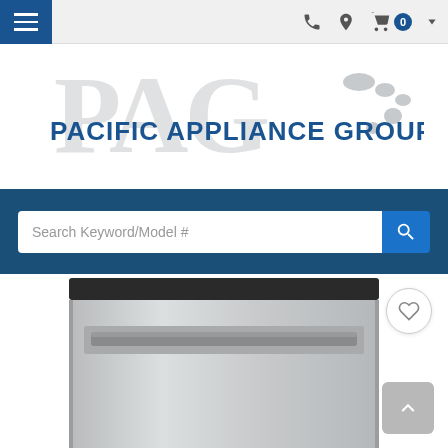Pacific Appliance Group – navigation bar with hamburger menu, phone, location, cart icons
[Figure (logo): Pacific Appliance Group logo with PAG letters and Hawaii map silhouette]
[Figure (screenshot): Search bar with placeholder text 'Search Keyword/Model #' and blue search button on dark blue background]
[Figure (photo): Stainless steel dishwasher with dark top panel and horizontal bar handle, partial view]